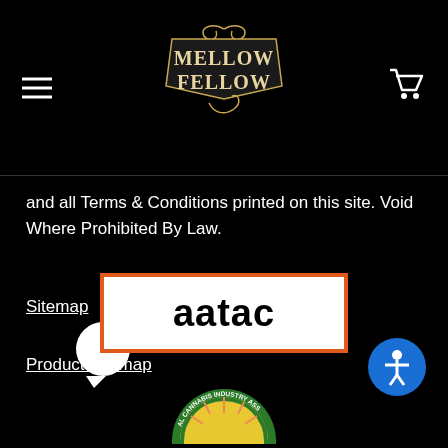Mellow Fellow — Navigation header with hamburger menu and cart icon
and all Terms & Conditions printed on this site. Void Where Prohibited By Law.
Sitemap
Product Sitemap
[Figure (logo): aatac logo — white background with orange border rectangle, bold black lowercase text 'aatac']
[Figure (logo): Partial cannabis industry association badge/seal, circular green and yellow emblem, partially cropped at bottom of page]